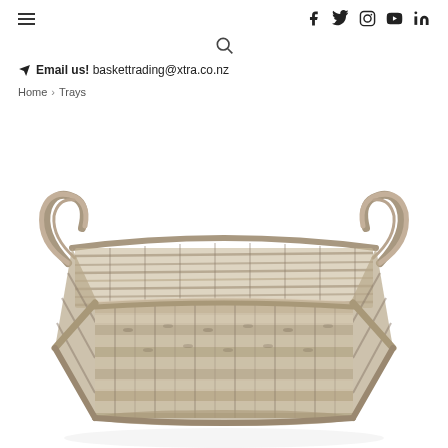≡  f  twitter  instagram  youtube  in
🔍
✈ Email us! baskettrading@xtra.co.nz
Home > Trays
[Figure (photo): A rectangular wicker/rattan tray basket with two looped handles on each side, in a grey/natural wash colour, photographed from a slightly elevated angle on a white background. The basket shows a woven pattern with visible gaps in the weave.]